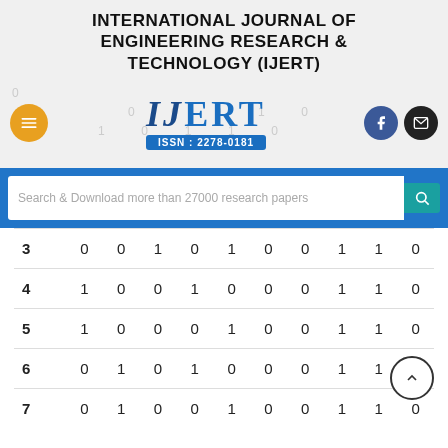INTERNATIONAL JOURNAL OF ENGINEERING RESEARCH & TECHNOLOGY (IJERT)
[Figure (logo): IJERT logo with ISSN: 2278-0181, navigation icons (menu, Facebook, email), and binary number background]
Search & Download more than 27000 research papers
| Row | b9 | b8 | b7 | b6 | b5 | b4 | b3 | b2 | b1 |
| --- | --- | --- | --- | --- | --- | --- | --- | --- | --- |
| 3 | 0 | 0 | 1 | 0 | 1 | 0 | 0 | 1 | 1 | 0 |
| 4 | 1 | 0 | 0 | 1 | 0 | 0 | 0 | 1 | 1 | 0 |
| 5 | 1 | 0 | 0 | 0 | 1 | 0 | 0 | 1 | 1 | 0 |
| 6 | 0 | 1 | 0 | 1 | 0 | 0 | 0 | 1 | 1 | 0 |
| 7 | 0 | 1 | 0 | 0 | 1 | 0 | 0 | 1 | 1 | 0 |